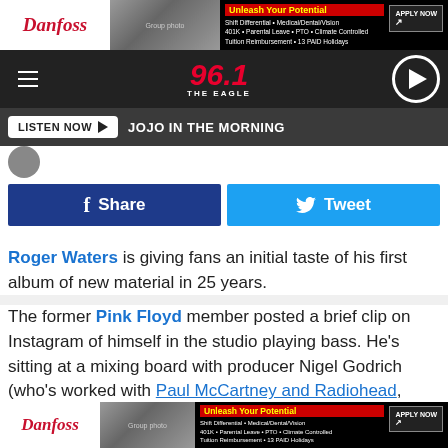[Figure (screenshot): Danfoss advertisement banner - Unleash Your Potential with Apply Now button]
[Figure (logo): 96.1 The Eagle radio station header with hamburger menu and play button]
LISTEN NOW ▶  JOJO IN THE MORNING
Share
Tweet
Roger Waters is giving fans an initial taste of his first album of new material in 25 years.
The former Pink Floyd member posted a brief clip on Instagram of himself in the studio playing bass. He's sitting at a mixing board with producer Nigel Godrich (who's worked with Paul McCartney and Radiohead, among others) next to
[Figure (screenshot): Danfoss advertisement banner at bottom - Unleash Your Potential with Apply Now button]